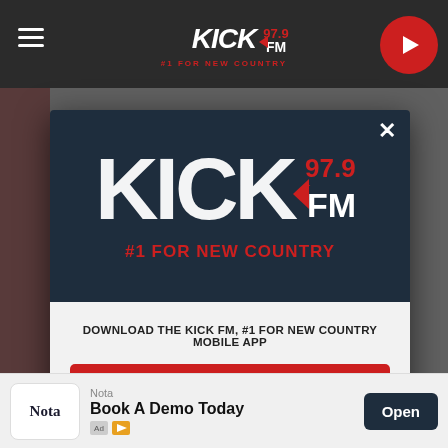[Figure (screenshot): Screenshot of Kick 97.9 FM radio website with a modal popup overlay. The page shows the website header with the Kick 97.9 FM logo and hamburger menu. A dark modal dialog is displayed with the Kick 97.9 FM logo (white grunge lettering with red #1 FOR NEW COUNTRY tagline), a prompt to download the mobile app, a red GET OUR FREE MOBILE APP button, and an 'Also listen on: amazon alexa' section. A bottom ad bar shows a Nota advertisement with 'Book A Demo Today' and an Open button.]
DOWNLOAD THE KICK FM, #1 FOR NEW COUNTRY MOBILE APP
GET OUR FREE MOBILE APP
Also listen on:  amazon alexa
Nota
Book A Demo Today
Open